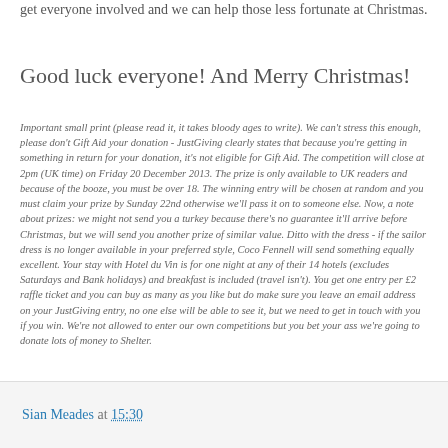get everyone involved and we can help those less fortunate at Christmas.
Good luck everyone! And Merry Christmas!
Important small print (please read it, it takes bloody ages to write). We can't stress this enough, please don't Gift Aid your donation - JustGiving clearly states that because you're getting in something in return for your donation, it's not eligible for Gift Aid. The competition will close at 2pm (UK time) on Friday 20 December 2013. The prize is only available to UK readers and because of the booze, you must be over 18. The winning entry will be chosen at random and you must claim your prize by Sunday 22nd otherwise we'll pass it on to someone else. Now, a note about prizes: we might not send you a turkey because there's no guarantee it'll arrive before Christmas, but we will send you another prize of similar value. Ditto with the dress - if the sailor dress is no longer available in your preferred style, Coco Fennell will send something equally excellent. Your stay with Hotel du Vin is for one night at any of their 14 hotels (excludes Saturdays and Bank holidays) and breakfast is included (travel isn't). You get one entry per £2 raffle ticket and you can buy as many as you like but do make sure you leave an email address on your JustGiving entry, no one else will be able to see it, but we need to get in touch with you if you win. We're not allowed to enter our own competitions but you bet your ass we're going to donate lots of money to Shelter.
Sian Meades at 15:30